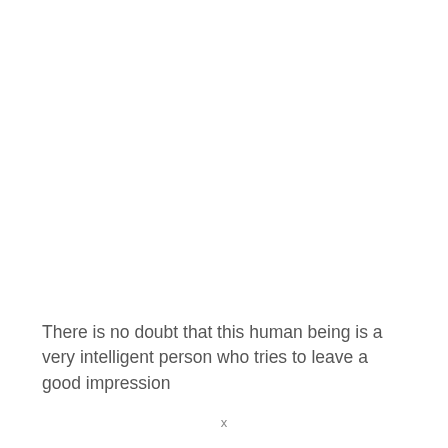There is no doubt that this human being is a very intelligent person who tries to leave a good impression
x